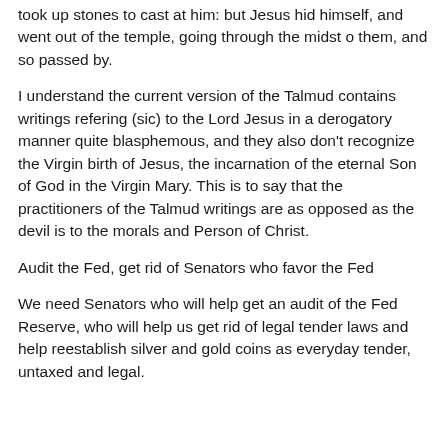took up stones to cast at him: but Jesus hid himself, and went out of the temple, going through the midst o them, and so passed by.
I understand the current version of the Talmud contains writings refering (sic) to the Lord Jesus in a derogatory manner quite blasphemous, and they also don't recognize the Virgin birth of Jesus, the incarnation of the eternal Son of God in the Virgin Mary. This is to say that the practitioners of the Talmud writings are as opposed as the devil is to the morals and Person of Christ.
Audit the Fed, get rid of Senators who favor the Fed
We need Senators who will help get an audit of the Fed Reserve, who will help us get rid of legal tender laws and help reestablish silver and gold coins as everyday tender, untaxed and legal.